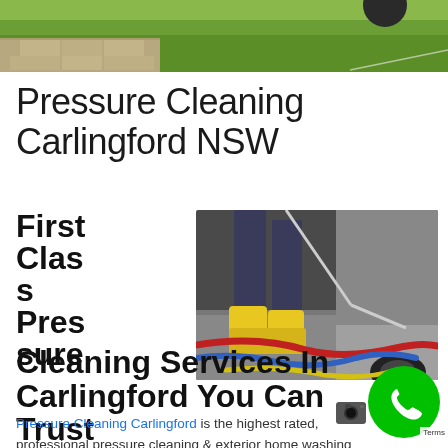[Figure (photo): Aerial or elevated outdoor photo showing paved/brick ground with green grass lawn area, with pressure cleaning equipment visible]
Pressure Cleaning Carlingford NSW
First Class Pressure Cleaning Services In Carlingford You Can Trust
[Figure (photo): Person wearing yellow rubber boots and dark pants using a pressure washer with red and yellow hoses on a concrete/metal surface]
Pressure Cleaning Carlingford is the highest rated, professional pressure cleaning & exterior home washing